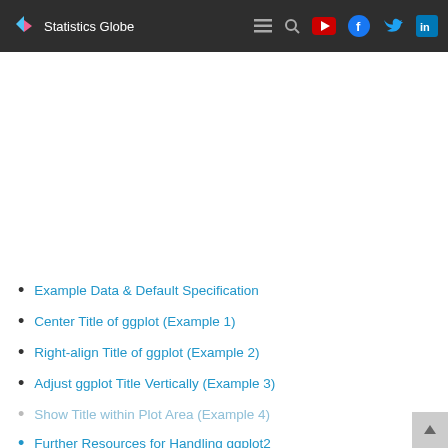Statistics Globe
Example Data & Default Specification
Center Title of ggplot (Example 1)
Right-align Title of ggplot (Example 2)
Adjust ggplot Title Vertically (Example 3)
Show Title within Plot Area (Example 4)
Further Resources for Handling ggplot2